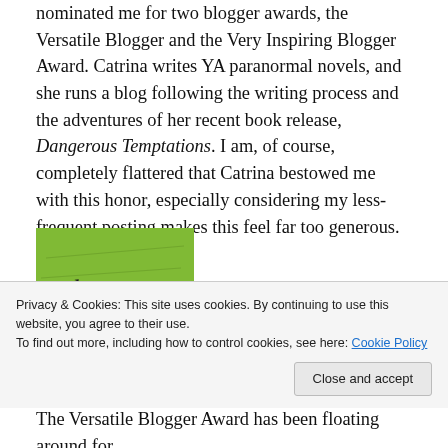nominated me for two blogger awards, the Versatile Blogger and the Very Inspiring Blogger Award. Catrina writes YA paranormal novels, and she runs a blog following the writing process and the adventures of her recent book release, Dangerous Temptations. I am, of course, completely flattered that Catrina bestowed me with this honor, especially considering my less-frequent posting makes this feel far too generous.
[Figure (illustration): Green background image showing handwritten cursive text with the words 'the Versatile' visible, resembling a blogger award badge]
Privacy & Cookies: This site uses cookies. By continuing to use this website, you agree to their use. To find out more, including how to control cookies, see here: Cookie Policy
The Versatile Blogger Award has been floating around for